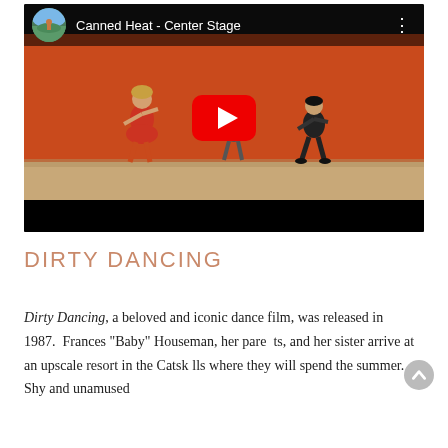[Figure (screenshot): YouTube video thumbnail showing three dancers on a stage with an orange/red wall background. Video title reads 'Canned Heat - Center Stage'. A red play button is displayed in the center.]
DIRTY DANCING
Dirty Dancing, a beloved and iconic dance film, was released in 1987.  Frances "Baby" Houseman, her parents, and her sister arrive at an upscale resort in the Catskills where they will spend the summer. Shy and unamused